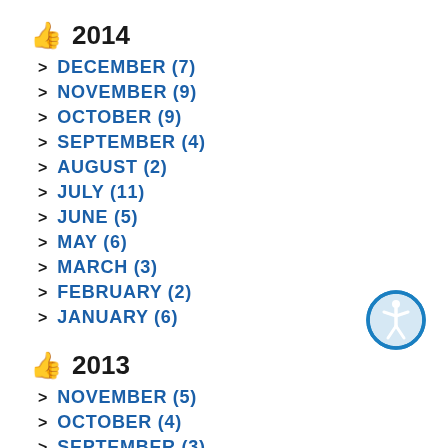2014
DECEMBER (7)
NOVEMBER (9)
OCTOBER (9)
SEPTEMBER (4)
AUGUST (2)
JULY (11)
JUNE (5)
MAY (6)
MARCH (3)
FEBRUARY (2)
JANUARY (6)
2013
NOVEMBER (5)
OCTOBER (4)
SEPTEMBER (3)
MAY (3)
[Figure (illustration): Accessibility icon — a circle with a person figure inside, blue outline]